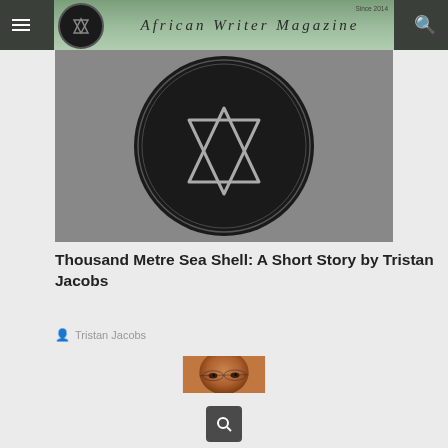African Writer Magazine — Since 2014
[Figure (logo): African Writer Magazine AW logo — large black circle with AW triangle/chevron symbol on grey background]
Thousand Metre Sea Shell: A Short Story by Tristan Jacobs
Tristan Jacobs
[Figure (photo): Close-up portrait photo of an African man wearing thin-framed glasses]
Search button